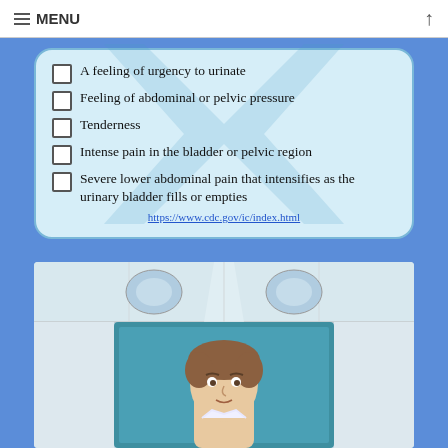≡ MENU
A feeling of urgency to urinate
Feeling of abdominal or pelvic pressure
Tenderness
Intense pain in the bladder or pelvic region
Severe lower abdominal pain that intensifies as the urinary bladder fills or empties
https://www.cdc.gov/ic/index.html
[Figure (illustration): Illustrated cartoon of a person (doctor or patient) in a medical office/room setting with tiled ceiling and teal-colored wall panels]